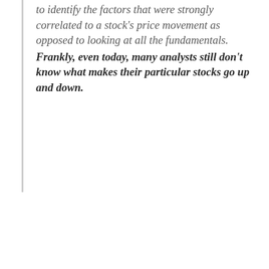to identify the factors that were strongly correlated to a stock's price movement as opposed to looking at all the fundamentals. Frankly, even today, many analysts still don't know what makes their particular stocks go up and down.